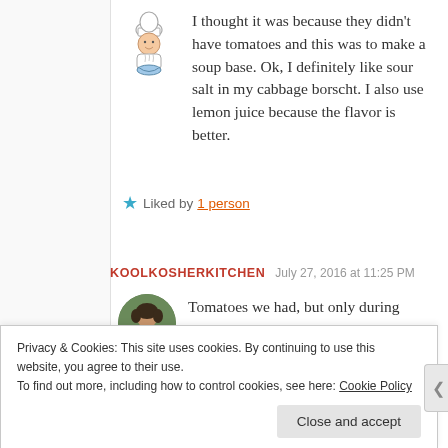[Figure (illustration): Chef avatar illustration — cartoon chef holding a bowl]
I thought it was because they didn't have tomatoes and this was to make a soup base. Ok, I definitely like sour salt in my cabbage borscht. I also use lemon juice because the flavor is better.
Liked by 1 person
KOOLKOSHERKITCHEN   July 27, 2016 at 11:25 PM
[Figure (photo): Round profile photo of a woman]
Tomatoes we had, but only during the summer, just like all the other...
Privacy & Cookies: This site uses cookies. By continuing to use this website, you agree to their use.
To find out more, including how to control cookies, see here: Cookie Policy
Close and accept